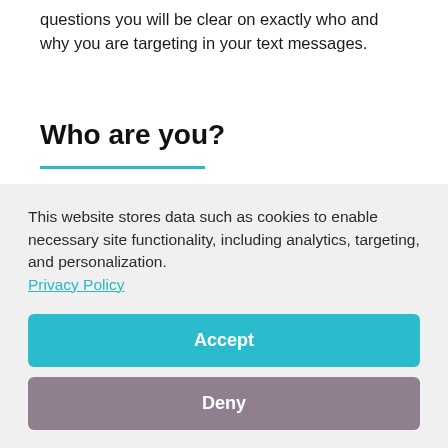questions you will be clear on exactly who and why you are targeting in your text messages.
Who are you?
Write a little about you. A 160 character introduction to be precise. Take the next 5 minutes to write a brief
This website stores data such as cookies to enable necessary site functionality, including analytics, targeting, and personalization. Privacy Policy
Accept
Deny